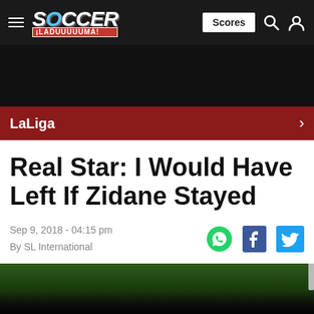Soccer Laduuuuuma — Scores
[Figure (screenshot): Dark advertisement/banner area]
LaLiga →
Real Star: I Would Have Left If Zidane Stayed
Sep 9, 2018 - 04:15 pm
By SL International
[Figure (photo): Partial soccer/football field image at bottom of page]